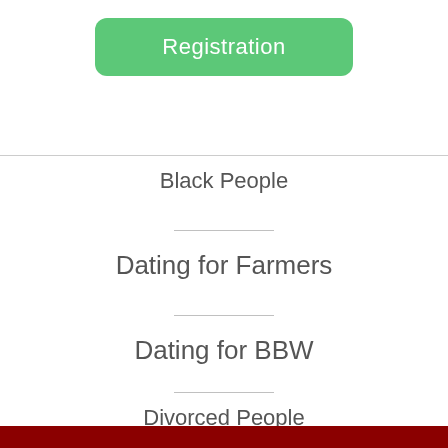Registration
Black People
Dating for Farmers
Dating for BBW
Divorced People